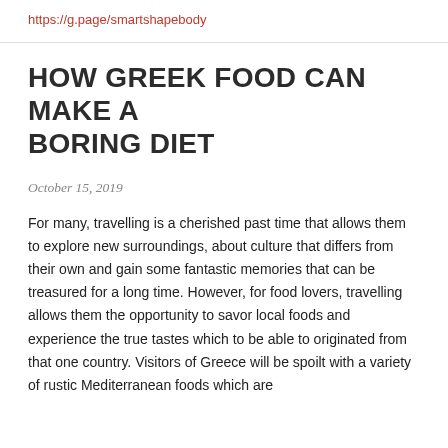https://g.page/smartshapebody
HOW GREEK FOOD CAN MAKE A BORING DIET
October 15, 2019
For many, travelling is a cherished past time that allows them to explore new surroundings, about culture that differs from their own and gain some fantastic memories that can be treasured for a long time. However, for food lovers, travelling allows them the opportunity to savor local foods and experience the true tastes which to be able to originated from that one country. Visitors of Greece will be spoilt with a variety of rustic Mediterranean foods which are